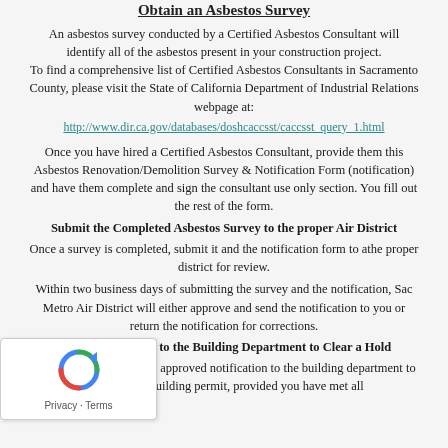Obtain an Asbestos Survey
An asbestos survey conducted by a Certified Asbestos Consultant will identify all of the asbestos present in your construction project. To find a comprehensive list of Certified Asbestos Consultants in Sacramento County, please visit the State of California Department of Industrial Relations webpage at:
http://www.dir.ca.gov/databases/doshcaccsst/caccsst_query_1.html
Once you have hired a Certified Asbestos Consultant, provide them this Asbestos Renovation/Demolition Survey & Notification Form (notification) and have them complete and sign the consultant use only section. You fill out the rest of the form.
Submit the Completed Asbestos Survey to the proper Air District
Once a survey is completed, submit it and the notification form to athe proper district for review.
Within two business days of submitting the survey and the notification, Sac Metro Air District will either approve and send the notification to you or return the notification for corrections.
Submit the Survey to the Building Department to Clear a Hold
You will need to take the approved notification to the building department to receive your building permit, provided you have met all